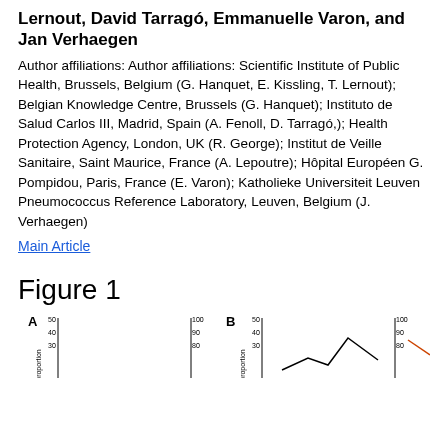Lernout, David Tarragó, Emmanuelle Varon, and Jan Verhaegen
Author affiliations: Author affiliations: Scientific Institute of Public Health, Brussels, Belgium (G. Hanquet, E. Kissling, T. Lernout); Belgian Knowledge Centre, Brussels (G. Hanquet); Instituto de Salud Carlos III, Madrid, Spain (A. Fenoll, D. Tarragó,); Health Protection Agency, London, UK (R. George); Institut de Veille Sanitaire, Saint Maurice, France (A. Lepoutre); Hôpital Européen G. Pompidou, Paris, France (E. Varon); Katholieke Universiteit Leuven Pneumococcus Reference Laboratory, Leuven, Belgium (J. Verhaegen)
Main Article
Figure 1
[Figure (line-chart): Two partially visible line chart panels labeled A and B with axes visible at bottom of page]